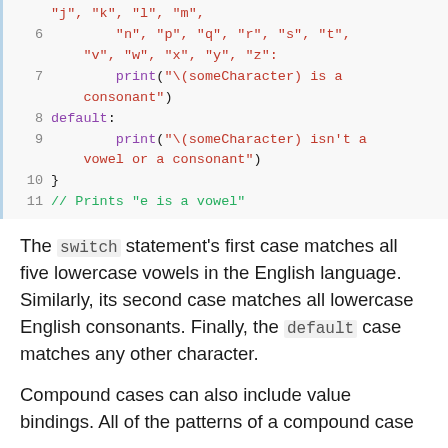[Figure (screenshot): Code block showing Swift switch statement lines 6-11 with line numbers, syntax highlighted]
The switch statement's first case matches all five lowercase vowels in the English language. Similarly, its second case matches all lowercase English consonants. Finally, the default case matches any other character.
Compound cases can also include value bindings. All of the patterns of a compound case